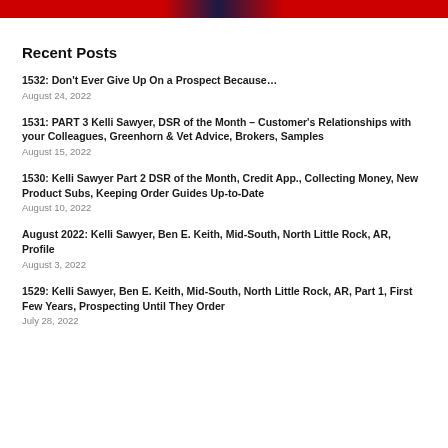[Figure (illustration): Red banner with dark center graphic at top of page]
Recent Posts
1532: Don't Ever Give Up On a Prospect Because… August 24, 2022
1531: PART 3 Kelli Sawyer, DSR of the Month – Customer's Relationships with your Colleagues, Greenhorn & Vet Advice, Brokers, Samples August 15, 2022
1530: Kelli Sawyer Part 2 DSR of the Month, Credit App., Collecting Money, New Product Subs, Keeping Order Guides Up-to-Date August 10, 2022
August 2022: Kelli Sawyer, Ben E. Keith, Mid-South, North Little Rock, AR, Profile August 3, 2022
1529: Kelli Sawyer, Ben E. Keith, Mid-South, North Little Rock, AR, Part 1, First Few Years, Prospecting Until They Order July 28, 2022